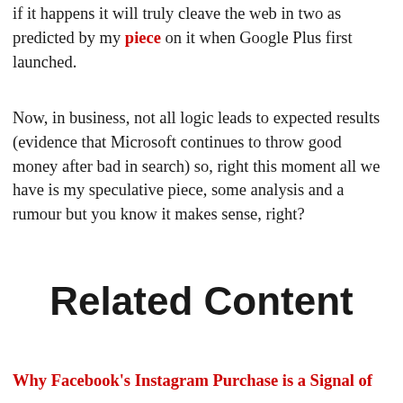if it happens it will truly cleave the web in two as predicted by my piece on it when Google Plus first launched.
Now, in business, not all logic leads to expected results (evidence that Microsoft continues to throw good money after bad in search) so, right this moment all we have is my speculative piece, some analysis and a rumour but you know it makes sense, right?
Related Content
Why Facebook's Instagram Purchase is a Signal of